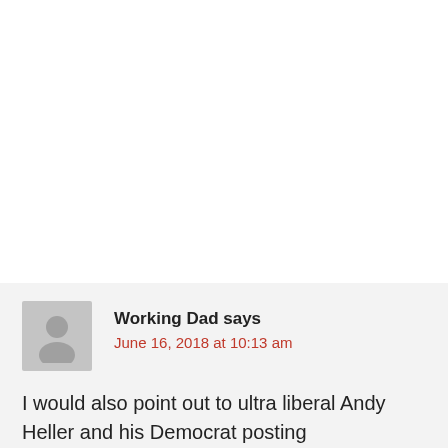[Figure (illustration): Generic user avatar icon (grey silhouette of a person on grey background)]
Working Dad says
June 16, 2018 at 10:13 am
I would also point out to ultra liberal Andy Heller and his Democrat posting